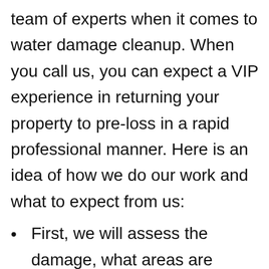team of experts when it comes to water damage cleanup. When you call us, you can expect a VIP experience in returning your property to pre-loss in a rapid professional manner. Here is an idea of how we do our work and what to expect from us:
First, we will assess the damage, what areas are affected, and where to start mitigating the water damage
After the assessment is done, we will then start dehumidification. We will